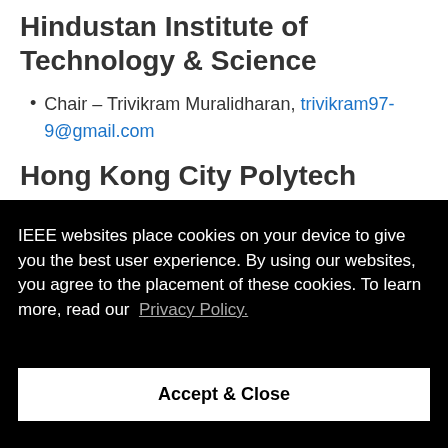Hindustan Institute of Technology & Science
Chair – Trivikram Muralidharan, trivikram97-9@gmail.com
Hong Kong City Polytech
IEEE websites place cookies on your device to give you the best user experience. By using our websites, you agree to the placement of these cookies. To learn more, read our Privacy Policy.
Accept & Close
Chair – Rabhi Mohammed